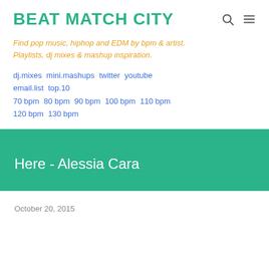BEAT MATCH CITY
Find pop music, hiphop and EDM by bpm & artist.
Playlists, dj mixes & mashup inspiration.
dj.mixes mini.mashups twitter youtube email.list top.10
70 bpm 80 bpm 90 bpm 100 bpm 110 bpm 120 bpm 130 bpm
Here - Alessia Cara
October 20, 2015